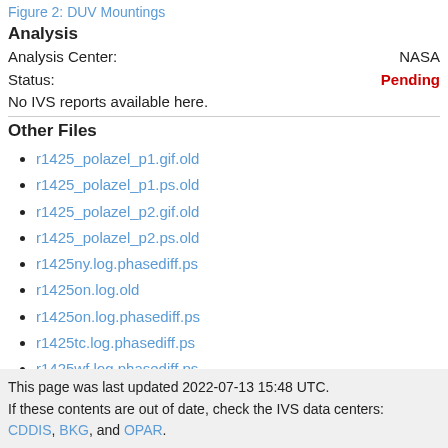Figure 2: DUV Mountings
Analysis
Analysis Center: NASA
Status: Pending
No IVS reports available here.
Other Files
r1425_polazel_p1.gif.old
r1425_polazel_p1.ps.old
r1425_polazel_p2.gif.old
r1425_polazel_p2.ps.old
r1425ny.log.phasediff.ps
r1425on.log.old
r1425on.log.phasediff.ps
r1425tc.log.phasediff.ps
r1425wf.log.phasediff.ps
r1425wz.log.old
This page was last updated 2022-07-13 15:48 UTC. If these contents are out of date, check the IVS data centers: CDDIS, BKG, and OPAR.